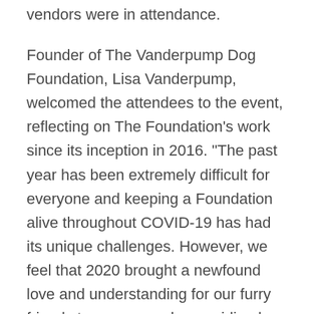vendors were in attendance.
Founder of The Vanderpump Dog Foundation, Lisa Vanderpump, welcomed the attendees to the event, reflecting on The Foundation's work since its inception in 2016. "The past year has been extremely difficult for everyone and keeping a Foundation alive throughout COVID-19 has had its unique challenges. However, we feel that 2020 brought a newfound love and understanding for our furry friends to many people, providing love and support through these difficult times. It is such an incredible feeling to be able to finally come together and celebrate these animals, in our first event in almost two years. Through the efforts of our Foundation, we have accomplished